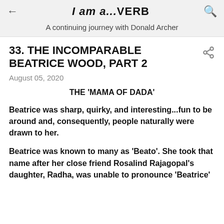I am a...VERB
A continuing journey with Donald Archer
33. THE INCOMPARABLE BEATRICE WOOD, PART 2
August 05, 2020
THE 'MAMA OF DADA'
Beatrice was sharp, quirky, and interesting...fun to be around and, consequently, people naturally were drawn to her.
Beatrice was known to many as 'Beato'.  She took that name after her close friend Rosalind Rajagopal's daughter, Radha, was unable to pronounce 'Beatrice'